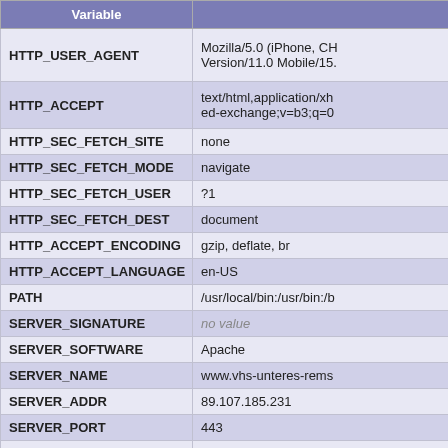| Variable |  |
| --- | --- |
| HTTP_USER_AGENT | Mozilla/5.0 (iPhone, CH Version/11.0 Mobile/15. |
| HTTP_ACCEPT | text/html,application/xh ed-exchange;v=b3;q=0 |
| HTTP_SEC_FETCH_SITE | none |
| HTTP_SEC_FETCH_MODE | navigate |
| HTTP_SEC_FETCH_USER | ?1 |
| HTTP_SEC_FETCH_DEST | document |
| HTTP_ACCEPT_ENCODING | gzip, deflate, br |
| HTTP_ACCEPT_LANGUAGE | en-US |
| PATH | /usr/local/bin:/usr/bin:/b |
| SERVER_SIGNATURE | no value |
| SERVER_SOFTWARE | Apache |
| SERVER_NAME | www.vhs-unteres-rems |
| SERVER_ADDR | 89.107.185.231 |
| SERVER_PORT | 443 |
| REMOTE_ADDR | 44.201.64.149 |
| DOCUMENT_ROOT | /home/www |
| REQUEST_SCHEME | https |
| CONTEXT_PREFIX | /cgi-bin74/ |